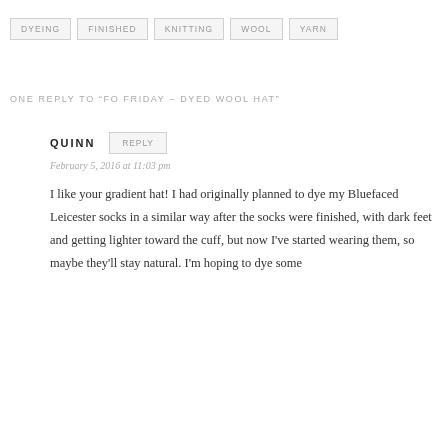DYEING
FINISHED
KNITTING
WOOL
YARN
ONE REPLY TO “FO FRIDAY – DYED WOOL HAT”
QUINN
REPLY
February 5, 2016 at 11:03 pm
I like your gradient hat! I had originally planned to dye my Bluefaced Leicester socks in a similar way after the socks were finished, with dark feet and getting lighter toward the cuff, but now I’ve started wearing them, so maybe they’ll stay natural. I’m hoping to dye some